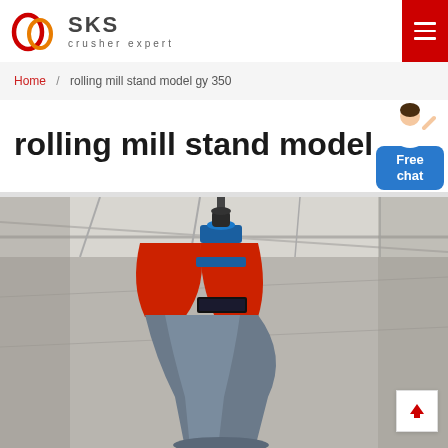SKS crusher expert
Home / rolling mill stand model gy 350
rolling mill stand model gy 350
[Figure (photo): Photograph of an industrial cone crusher / mill stand hanging in a warehouse or factory, viewed from below. The machine is grey/blue with a red section and blue coupling visible at the top.]